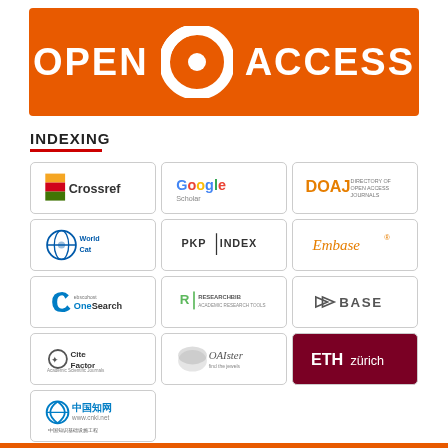[Figure (logo): Open Access banner with orange background, white text 'OPEN' and 'ACCESS' flanking an open access lock icon]
INDEXING
[Figure (other): Grid of indexing service logos: Crossref, Google Scholar, DOAJ, WorldCat, PKP Index, Embase, EBSCOhost OneSearch, ResearchBib, BASE, CiteFactor, OAIster, ETH Zürich, CNKI]